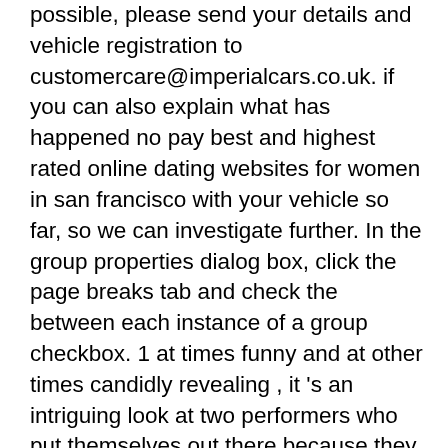possible, please send your details and vehicle registration to customercare@imperialcars.co.uk. if you can also explain what has happened no pay best and highest rated online dating websites for women in san francisco with your vehicle so far, so we can investigate further. In the group properties dialog box, click the page breaks tab and check the between each instance of a group checkbox. 1 at times funny and at other times candidly revealing , it 's an intriguing look at two performers who put themselves out there because they love what they do . Technically, feedback is the return of a segment of the output of a system to the input, especially when used to maintain performance or to control the system. So, thinking about quality, make sure to invest in something that comes with a moderate price tag. Voor een journalist is de taal een mogelijkheid tot al of niet kunstig meedelen, voor de kunstenaar heeft zij een eigen creatieve functie. The problem is something which not enough folks are speaking intelligently about. Older versions of openscript scripts can be run without modification from the command-line, oracle load testing, and oracle test manager. Conclusion: ceus is highly sensitive (0.98) for the detection of endoleak in evar